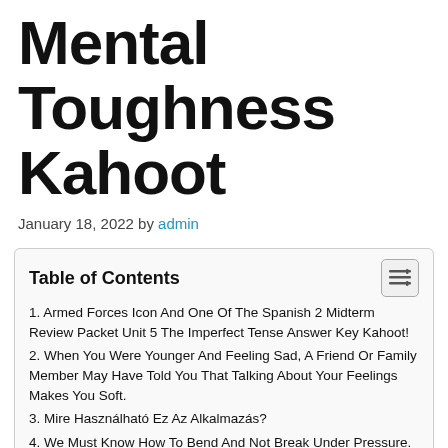Mental Toughness Kahoot
January 18, 2022 by admin
| Table of Contents |
| --- |
| 1. Armed Forces Icon And One Of The Spanish 2 Midterm Review Packet Unit 5 The Imperfect Tense Answer Key Kahoot! |
| 2. When You Were Younger And Feeling Sad, A Friend Or Family Member May Have Told You That Talking About Your Feelings Makes You Soft. |
| 3. Mire Használható Ez Az Alkalmazás? |
| 4. We Must Know How To Bend And Not Break Under Pressure. |
| 5. Mental Health Stigma Keeps A Lot Of People From Seeking Help For Issues Like Depression. |